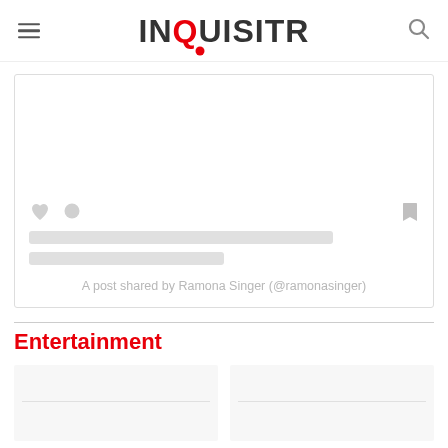INQUISITR
[Figure (screenshot): Instagram embed placeholder with loading skeleton — heart icon, comment icon, bookmark icon, two gray skeleton lines, and caption 'A post shared by Ramona Singer (@ramonasinger)']
A post shared by Ramona Singer (@ramonasinger)
Entertainment